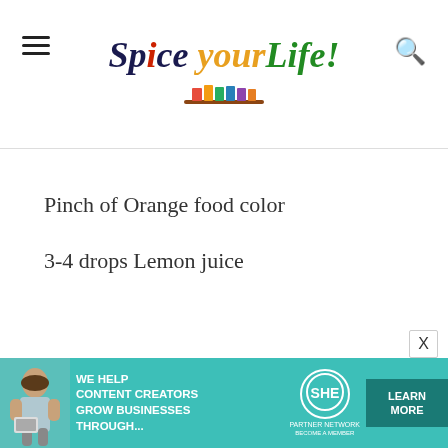Spice your Life!
Pinch of Orange food color
3-4 drops Lemon juice
[Figure (other): Advertisement banner: SHE Media Partner Network - We help content creators grow businesses through... Learn More]